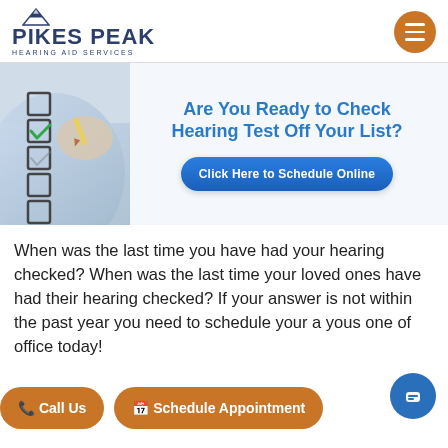[Figure (logo): Pikes Peak Hearing Aid Services logo with mountain icon]
[Figure (infographic): Person checking boxes on a checklist with green checkmark, alongside text 'Are You Ready to Check Hearing Test Off Your List?' and a blue 'Click Here to Schedule Online' button]
When was the last time you have had your hearing checked? When was the last time your loved ones have had their hearing checked? If your answer is not within the past year you need to schedule your a you... s one of office today!